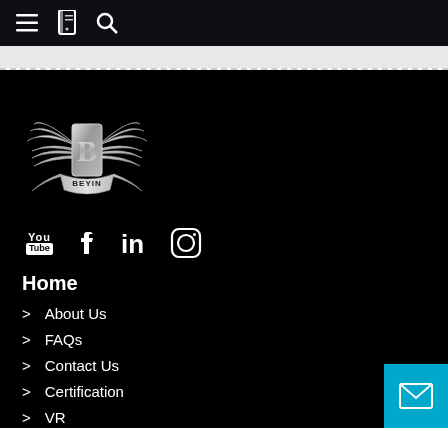Navigation bar with menu, book, and search icons
[Figure (logo): BEYIN brand logo with silver winged emblem and letter B]
[Figure (infographic): Social media icons: YouTube, Facebook, LinkedIn, Instagram]
Home
> About Us
> FAQs
> Contact Us
> Certification
> VR